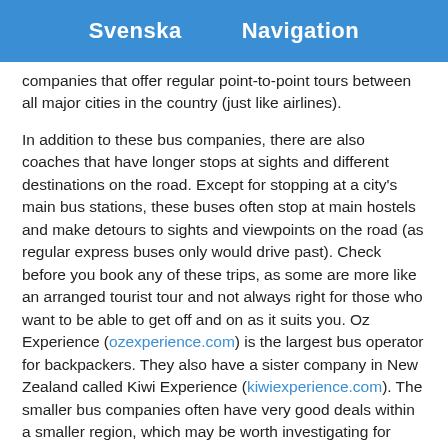Svenska   Navigation
companies that offer regular point-to-point tours between all major cities in the country (just like airlines).
In addition to these bus companies, there are also coaches that have longer stops at sights and different destinations on the road. Except for stopping at a city's main bus stations, these buses often stop at main hostels and make detours to sights and viewpoints on the road (as regular express buses only would drive past). Check before you book any of these trips, as some are more like an arranged tourist tour and not always right for those who want to be able to get off and on as it suits you. Oz Experience (ozexperience.com) is the largest bus operator for backpackers. They also have a sister company in New Zealand called Kiwi Experience (kiwiexperience.com). The smaller bus companies often have very good deals within a smaller region, which may be worth investigating for those who know where they are going.